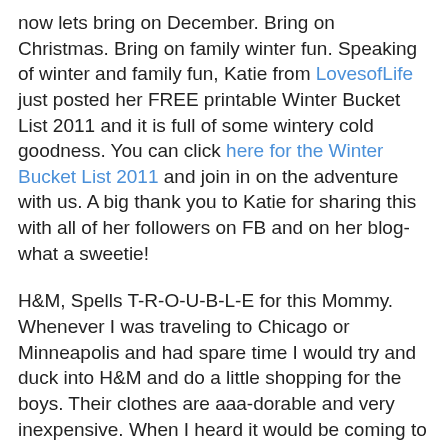now lets bring on December. Bring on Christmas. Bring on family winter fun. Speaking of winter and family fun, Katie from LovesofLife just posted her FREE printable Winter Bucket List 2011 and it is full of some wintery cold goodness. You can click here for the Winter Bucket List 2011 and join in on the adventure with us. A big thank you to Katie for sharing this with all of her followers on FB and on her blog-what a sweetie!
H&M, Spells T-R-O-U-B-L-E for this Mommy. Whenever I was traveling to Chicago or Minneapolis and had spare time I would try and duck into H&M and do a little shopping for the boys. Their clothes are aaa-dorable and very inexpensive. When I heard it would be coming to KC I had mixed feelings. On one hand it would hurt my pocketbook. And it almost makes it worse that they are so cheap because what is another $5 and my shopping bag would just continue to grow. And then there is the exclusivity. When there wasn't one here in KC, Kaden had clothes that no one else had. On the other hand, who cares! H&M was here and it has and probably will be my favorite place to shop for the boys. And today, I finally got to check it out. I walked in with high hopes